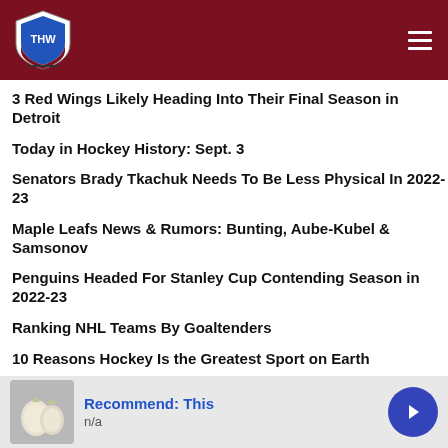[Figure (logo): THW (The Hockey Writers) shield logo on dark red header bar with hamburger menu icon]
3 Red Wings Likely Heading Into Their Final Season in Detroit
Today in Hockey History: Sept. 3
Senators Brady Tkachuk Needs To Be Less Physical In 2022-23
Maple Leafs News & Rumors: Bunting, Aube-Kubel & Samsonov
Penguins Headed For Stanley Cup Contending Season in 2022-23
Ranking NHL Teams By Goaltenders
10 Reasons Hockey Is the Greatest Sport on Earth
Do You Know Your Bruins Trivia?
3 Bruins' Wishes for the 2022-23 Season
3 Teams With Most to Lose in 2022-23 Season
NHL Rumors: Canucks, Canadiens, Sharks, Wild, Oilers
Maple Leafs Commentary: Time's Up for Simmonds & Clifford?
Oilers Signing Murray Eliminates 3 Players' Chances to Make Team
[Figure (infographic): Advertisement bar with onion/garlic image and Recommend: This text with blue arrow button]